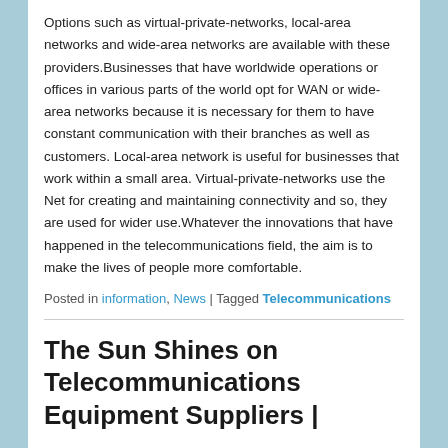Options such as virtual-private-networks, local-area networks and wide-area networks are available with these providers.Businesses that have worldwide operations or offices in various parts of the world opt for WAN or wide-area networks because it is necessary for them to have constant communication with their branches as well as customers. Local-area network is useful for businesses that work within a small area. Virtual-private-networks use the Net for creating and maintaining connectivity and so, they are used for wider use.Whatever the innovations that have happened in the telecommunications field, the aim is to make the lives of people more comfortable.
Posted in information, News | Tagged Telecommunications
The Sun Shines on Telecommunications Equipment Suppliers |